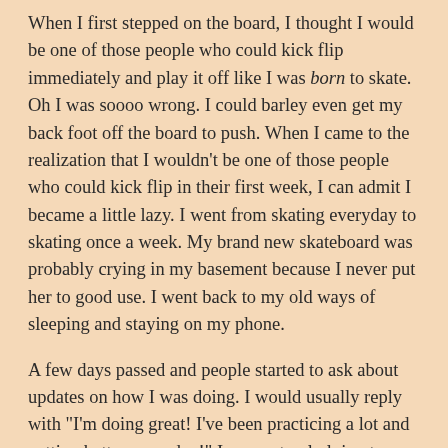When I first stepped on the board, I thought I would be one of those people who could kick flip immediately and play it off like I was born to skate. Oh I was soooo wrong. I could barley even get my back foot off the board to push. When I came to the realization that I wouldn't be one of those people who could kick flip in their first week, I can admit I became a little lazy. I went from skating everyday to skating once a week. My brand new skateboard was probably crying in my basement because I never put her to good use. I went back to my old ways of sleeping and staying on my phone.
A few days passed and people started to ask about updates on how I was doing. I would usually reply with "I'm doing great! I've been practicing a lot and getting better everyday!" I was not only lying to them, but myself. I got up from my bed, went to my basement, picked up my board, and started practicing for the first time in what felt like months. I first started to get familiar with just cruising and picking up my board the cool way.